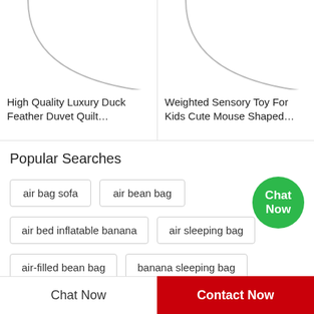[Figure (illustration): Product thumbnail placeholder with curved line arc on white background, left product]
High Quality Luxury Duck Feather Duvet Quilt…
[Figure (illustration): Product thumbnail placeholder with curved line arc on white background, right product]
Weighted Sensory Toy For Kids Cute Mouse Shaped…
Popular Searches
air bag sofa
air bean bag
air bed inflatable banana
air sleeping bag
air-filled bean bag
banana sleeping bag
Chat Now
Contact Now